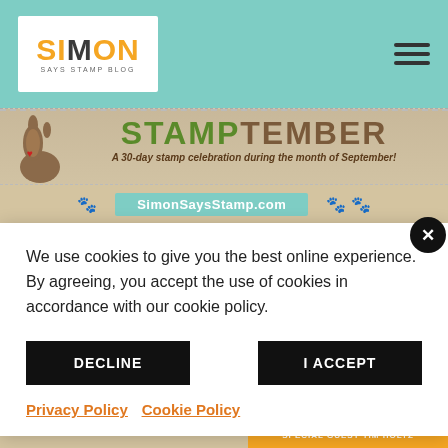Simon Says Stamp Blog header with navigation
[Figure (illustration): STAMPtember banner - A 30-day stamp celebration during the month of September! with Simon Says Stamp logo bunny and SimonSaysStamp.com ribbon]
Simon Says Stamp & Show STAMPtember™ Blog Hop!
We use cookies to give you the best online experience. By agreeing, you accept the use of cookies in accordance with our cookie policy.
DECLINE   I ACCEPT
Privacy Policy   Cookie Policy
SPECIAL GUEST TIM HOLTZ (partially visible)